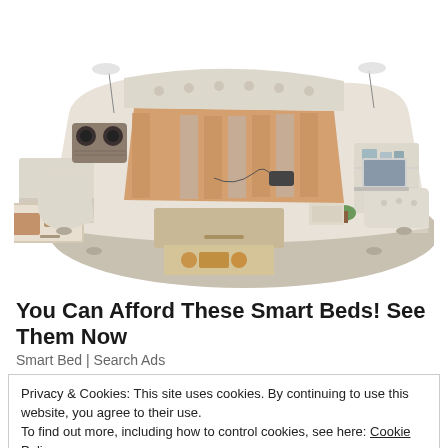[Figure (photo): Product photo of a large luxury smart bed with multiple features including built-in speakers, storage drawers, reading lamps, massage chair sections, and storage compartments. The bed has a cream/beige leather upholstered frame with wooden drawer inserts.]
You Can Afford These Smart Beds! See Them Now
Smart Bed | Search Ads
Privacy & Cookies: This site uses cookies. By continuing to use this website, you agree to their use.
To find out more, including how to control cookies, see here: Cookie Policy
Close and accept